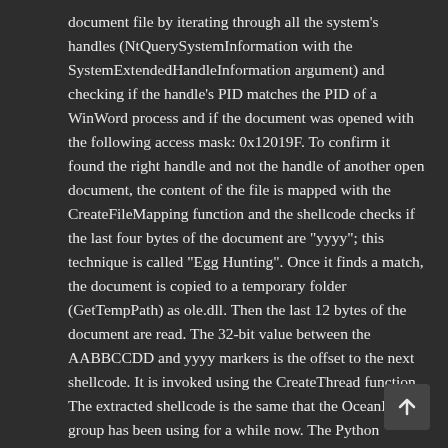document file by iterating through all the system's handles (NtQuerySystemInformation with the SystemExtendedHandleInformation argument) and checking if the handle's PID matches the PID of a WinWord process and if the document was opened with the following access mask: 0x12019F. To confirm it found the right handle and not the handle of another open document, the content of the file is mapped with the CreateFileMapping function and the shellcode checks if the last four bytes of the document are "yyyy"; this technique is called "Egg Hunting". Once it finds a match, the document is copied to a temporary folder (GetTempPath) as ole.dll. Then the last 12 bytes of the document are read. The 32-bit value between the AABBCCDD and yyyy markers is the offset to the next shellcode. It is invoked using the CreateThread function. The extracted shellcode is the same that the OceanLotus group has been using for a while now. The Python emulator script we released in March 2018 still works to dump the next stage. The filenames and directories are chosen dynamically. The